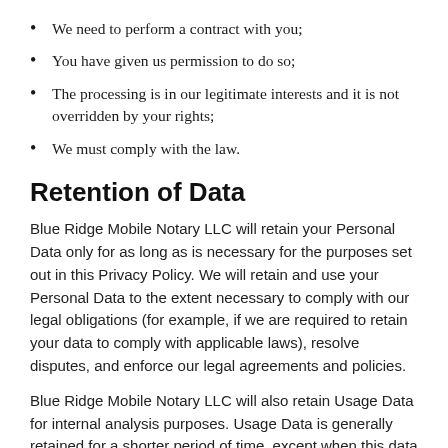We need to perform a contract with you;
You have given us permission to do so;
The processing is in our legitimate interests and it is not overridden by your rights;
We must comply with the law.
Retention of Data
Blue Ridge Mobile Notary LLC will retain your Personal Data only for as long as is necessary for the purposes set out in this Privacy Policy. We will retain and use your Personal Data to the extent necessary to comply with our legal obligations (for example, if we are required to retain your data to comply with applicable laws), resolve disputes, and enforce our legal agreements and policies.
Blue Ridge Mobile Notary LLC will also retain Usage Data for internal analysis purposes. Usage Data is generally retained for a shorter period of time, except when this data is used to